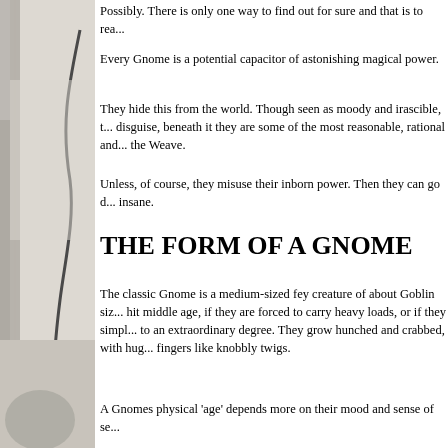[Figure (photo): Left sidebar showing a partial photograph of a curved dark line or cord against a light background, printed in greyscale.]
Possibly. There is only one way to find out for sure and that is to rea...
Every Gnome is a potential capacitor of astonishing magical power.
They hide this from the world. Though seen as moody and irascible, t... disguise, beneath it they are some of the most reasonable, rational and... the Weave.
Unless, of course, they misuse their inborn power. Then they can go d... insane.
THE FORM OF A GNOME
The classic Gnome is a medium-sized fey creature of about Goblin siz... hit middle age, if they are forced to carry heavy loads, or if they simpl... to an extraordinary degree. They grow hunched and crabbed, with hug... fingers like knobbly twigs.
A Gnomes physical 'age' depends more on their mood and sense of se...